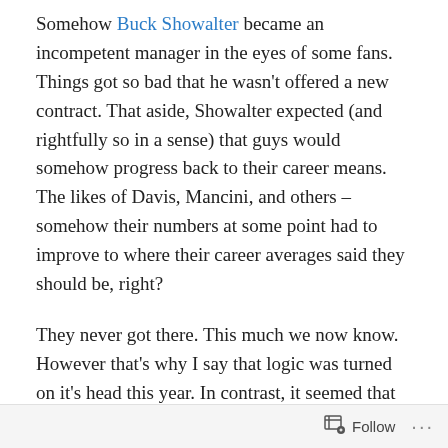Somehow Buck Showalter became an incompetent manager in the eyes of some fans. Things got so bad that he wasn't offered a new contract. That aside, Showalter expected (and rightfully so in a sense) that guys would somehow progress back to their career means. The likes of Davis, Mancini, and others – somehow their numbers at some point had to improve to where their career averages said they should be, right?
They never got there. This much we now know. However that's why I say that logic was turned on it's head this year. In contrast, it seemed that Oriole opponents did more and more things outside the box, or against logic. And somehow it worked. Essentially in perpetuity.
I never felt that effort was the issue for the Orioles.
Follow ···